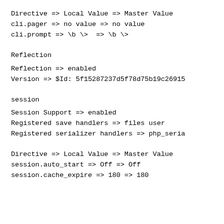Directive => Local Value => Master Value
cli.pager => no value => no value
cli.prompt => \b \>  => \b \>
Reflection
Reflection => enabled
Version => $Id: 5f15287237d5f78d75b19c26915
session
Session Support => enabled
Registered save handlers => files user
Registered serializer handlers => php_seria
Directive => Local Value => Master Value
session.auto_start => Off => Off
session.cache_expire => 180 => 180